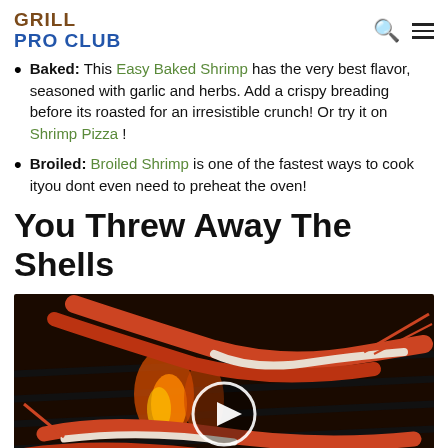GRILL PRO CLUB
Baked: This Easy Baked Shrimp has the very best flavor, seasoned with garlic and herbs. Add a crispy breading before its roasted for an irresistible crunch! Or try it on Shrimp Pizza !
Broiled: Broiled Shrimp is one of the fastest ways to cook ityou dont even need to preheat the oven!
You Threw Away The Shells
[Figure (photo): Shrimp cooking on a grill with flames visible, with a video play button overlay in the center]